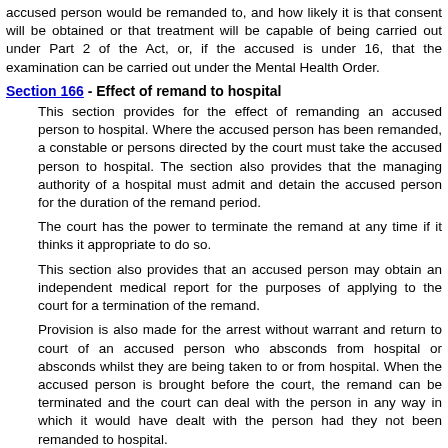accused person would be remanded to, and how likely it is that consent will be obtained or that treatment will be capable of being carried out under Part 2 of the Act, or, if the accused is under 16, that the examination can be carried out under the Mental Health Order.
Section 166 - Effect of remand to hospital
This section provides for the effect of remanding an accused person to hospital. Where the accused person has been remanded, a constable or persons directed by the court must take the accused person to hospital. The section also provides that the managing authority of a hospital must admit and detain the accused person for the duration of the remand period.
The court has the power to terminate the remand at any time if it thinks it appropriate to do so.
This section also provides that an accused person may obtain an independent medical report for the purposes of applying to the court for a termination of the remand.
Provision is also made for the arrest without warrant and return to court of an accused person who absconds from hospital or absconds whilst they are being taken to or from hospital. When the accused person is brought before the court, the remand can be terminated and the court can deal with the person in any way in which it would have dealt with the person had they not been remanded to hospital.
The section also provides that the court can further remand an accused person, without the person being brought before the court, if they are represented by counsel or a solicitor who is given an opportunity of being heard by the court.